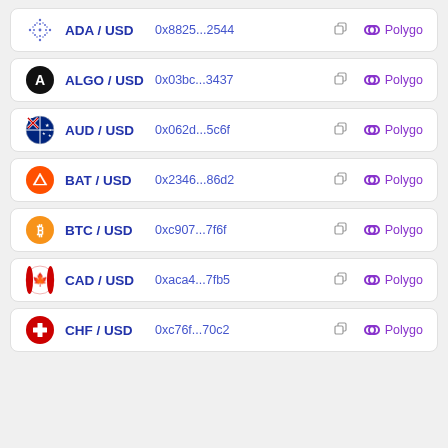ADA / USD  0x8825...2544  Polygo
ALGO / USD  0x03bc...3437  Polygo
AUD / USD  0x062d...5c6f  Polygo
BAT / USD  0x2346...86d2  Polygo
BTC / USD  0xc907...7f6f  Polygo
CAD / USD  0xaca4...7fb5  Polygo
CHF / USD  0xc76f...70c2  Polygo